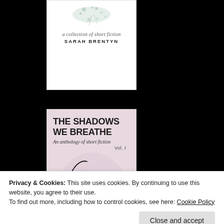[Figure (illustration): Top portion of a book cover for a short fiction collection by Sarah Brentyn. Shows decorative splash/botanical illustration at top, italic subtitle 'a collection of short fiction', and author name 'SARAH BRENTYN' in bold capitals. White background.]
[Figure (illustration): Book cover for 'THE SHADOWS WE BREATHE: An anthology of short fiction Vol. 1'. Pink/mauve watercolor background with a minimalist line drawing of a woman's face profile. Text 'Edited by' appears at bottom right. Bold title at top left.]
Privacy & Cookies: This site uses cookies. By continuing to use this website, you agree to their use.
To find out more, including how to control cookies, see here: Cookie Policy
Close and accept
[Figure (illustration): Partial bottom edge of a third book cover with green/mint coloring, only a sliver visible at page bottom.]